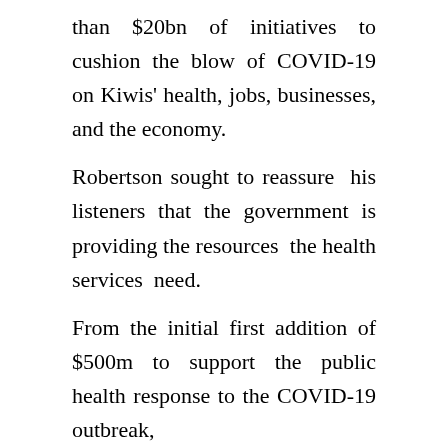than $20bn of initiatives to cushion the blow of COVID-19 on Kiwis' health, jobs, businesses, and the economy.
Robertson sought to reassure his listeners that the government is providing the resources the health services need.
From the initial first addition of $500m to support the public health response to the COVID-19 outbreak,
“ … we are already seeing the impact of those resources in building up our public health units, in the arrival of emergency testing centres, in the initial intensive care capacity that we’ve grown, in the provision of equipment for hospitals, and in the support for GPs and primary care, along with